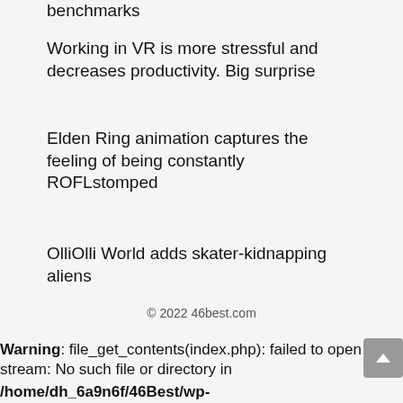benchmarks
Working in VR is more stressful and decreases productivity. Big surprise
Elden Ring animation captures the feeling of being constantly ROFLstomped
OlliOlli World adds skater-kidnapping aliens
© 2022 46best.com
Warning: file_get_contents(index.php): failed to open stream: No such file or directory in /home/dh_6a9n6f/46Best/wp-